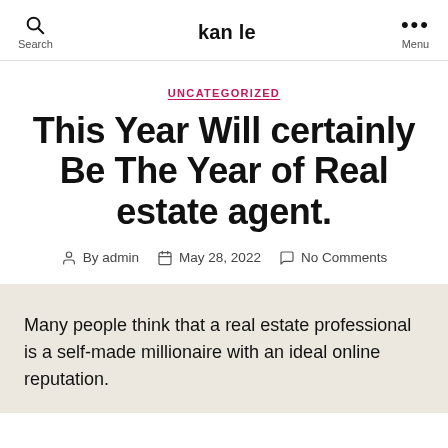kan le
UNCATEGORIZED
This Year Will certainly Be The Year of Real estate agent.
By admin  May 28, 2022  No Comments
Many people think that a real estate professional is a self-made millionaire with an ideal online reputation.